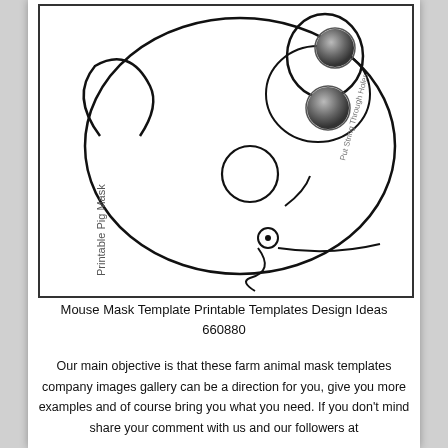[Figure (illustration): A printable pig mask template shown upside down. The outline shows a pig face with ears, eyes (two shaded spheres), a circular nose/snout, and string holes for tying. Text 'Printable Pig Mask' is written vertically along the left side (upside down). Text 'Put String Through Holes' appears on the right side.]
Mouse Mask Template Printable Templates Design Ideas 660880
Our main objective is that these farm animal mask templates company images gallery can be a direction for you, give you more examples and of course bring you what you need. If you don't mind share your comment with us and our followers at